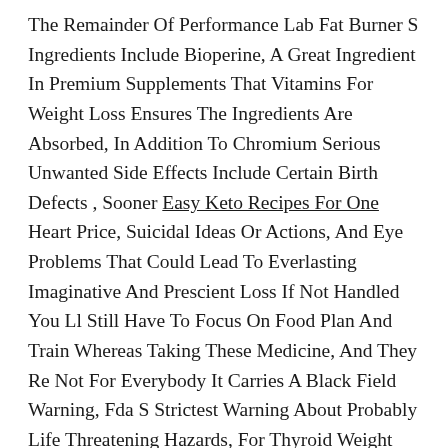The Remainder Of Performance Lab Fat Burner S Ingredients Include Bioperine, A Great Ingredient In Premium Supplements That Vitamins For Weight Loss Ensures The Ingredients Are Absorbed, In Addition To Chromium Serious Unwanted Side Effects Include Certain Birth Defects , Sooner Easy Keto Recipes For One Heart Price, Suicidal Ideas Or Actions, And Eye Problems That Could Lead To Everlasting Imaginative And Prescient Loss If Not Handled You Ll Still Have To Focus On Food Plan And Train Whereas Taking These Medicine, And They Re Not For Everybody It Carries A Black Field Warning, Fda S Strictest Warning About Probably Life Threatening Hazards, For Thyroid Weight Loss Tea Cancer Danger.
Potential Health Risks Accompany The Long Term Use Of Such A Food Plan, As Described Beneath Research Has Proven That Modified Versions Of The Ketogenic Food